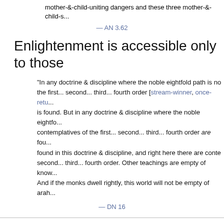mother-&-child-uniting dangers and these three mother-&-child-s...
— AN 3.62
Enlightenment is accessible only to those
"In any doctrine & discipline where the noble eightfold path is not found, the first... second... third... fourth order [stream-winner, once-returner...] is found. But in any doctrine & discipline where the noble eightfold path is found contemplatives of the first... second... third... fourth order are found. Right here is found in this doctrine & discipline, and right here there are contemplatives of the first... second... third... fourth order. Other teachings are empty of knowledgeable contemplatives. And if the monks dwell rightly, this world will not be empty of arahants.
— DN 16
See also:
The Four Noble Truths